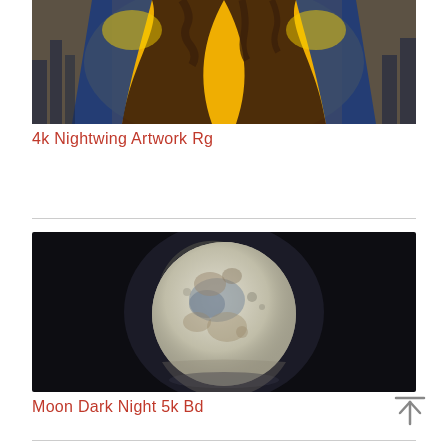[Figure (illustration): Cropped top portion of a 4k Nightwing artwork showing a dark figure in a blue costume against a bright yellow/orange background with city elements]
4k Nightwing Artwork Rg
[Figure (photo): High resolution photo of the Moon against a dark night sky, showing craters and lunar surface detail, almost full moon]
Moon Dark Night 5k Bd